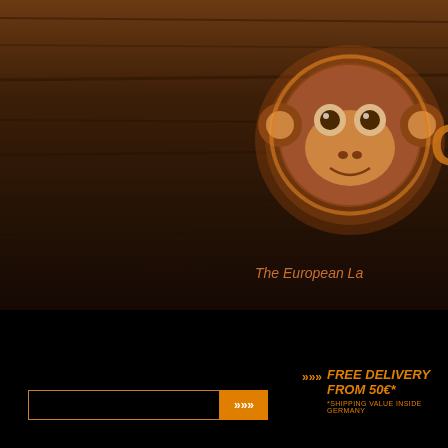[Figure (screenshot): Dark wood-textured background header with monkey logo and 'The European La...' tagline]
FREE DELIVERY FROM 50€* *SHIPPING VALUE INSIDE GERMANY
>>>
VOUCHERS
Lacrosse Complete Sticks
Lacrosse Shafts
Lacrosse Heads
Lacrosse Protection
Lacrosse Gloves
Lacrosse Stringing
Lacrosse Shoes
Catalogue » Lacrosse Accessories » Lacrosse G...
Anarchy Lacrosse Sho...
[Figure (logo): Anarchy Lacrosse brand logo - white box with stylized AL letters]
Product No.:AL-TARG1
★★★★★ (Rate this product now!)
Shipping time: ■ available
79,95 EUR
CLUB Price 75,95 EUR
incl. VAT plus shipping